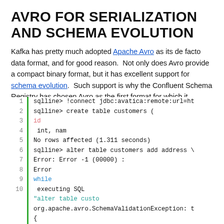AVRO FOR SERIALIZATION AND SCHEMA EVOLUTION
Kafka has pretty much adopted Apache Avro as its de facto data format, and for good reason.  Not only does Avro provide a compact binary format, but it has excellent support for schema evolution.  Such support is why the Confluent Schema Registry has chosen Avro as the first format for which it provides schema management.
KarelDB uses Avro to both define relations (tables), and serialize the data for those relations.  By using Avro, KarelDB gets schema evolution for free when executing an ALTER TABLE command.
[Figure (screenshot): Code block showing SQLline commands: connecting via JDBC, creating a customers table, then attempting to alter the table which results in an Avro SchemaValidationException error. Lines 1-10 shown with green sidebar.]